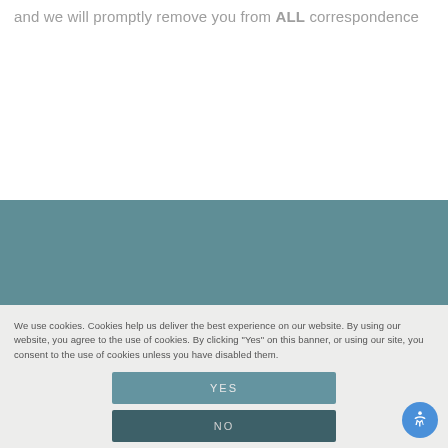and we will promptly remove you from ALL correspondence
[Figure (other): Teal/slate blue decorative band spanning the full width of the page]
We use cookies. Cookies help us deliver the best experience on our website. By using our website, you agree to the use of cookies. By clicking "Yes" on this banner, or using our site, you consent to the use of cookies unless you have disabled them.
YES
NO